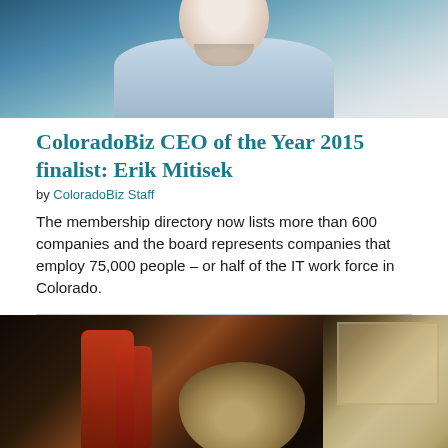[Figure (photo): Portrait photo of Erik Mitisek, man in light blue shirt against blue background, cropped to upper body]
ColoradoBiz CEO of the Year 2015 finalist: Erik Mitisek
by ColoradoBiz Staff
The membership directory now lists more than 600 companies and the board represents companies that employ 75,000 people – or half of the IT work force in Colorado.
[Figure (photo): Portrait photo of a person seated near red industrial equipment in a dark workshop or hangar setting, with light coming through windows on the right]